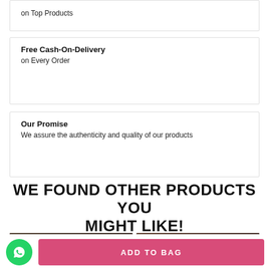on Top Products
Free Cash-On-Delivery
on Every Order
Our Promise
We assure the authenticity and quality of our products
WE FOUND OTHER PRODUCTS YOU MIGHT LIKE!
[Figure (photo): Two product cards with PREMIUM badge showing women in ethnic wear]
ADD TO BAG